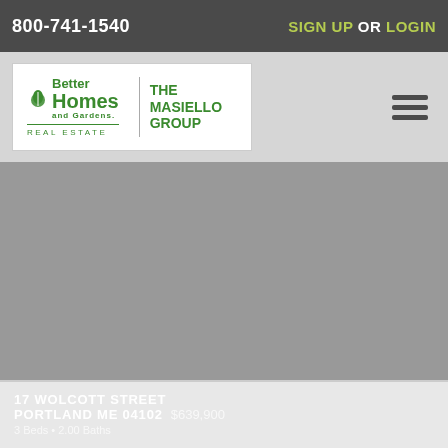800-741-1540  SIGN UP OR LOGIN
[Figure (logo): Better Homes and Gardens Real Estate - The Masiello Group logo]
[Figure (photo): Property photo placeholder - gray area]
17 WOLCOTT STREET PORTLAND ME 04102  $639,900  3 Beds • 2.00 Baths